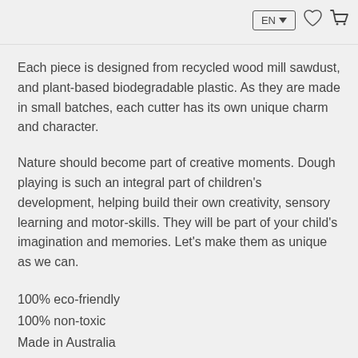EN ▼ [heart icon] [cart icon]
Each piece is designed from recycled wood mill sawdust, and plant-based biodegradable plastic. As they are made in small batches, each cutter has its own unique charm and character.
Nature should become part of creative moments. Dough playing is such an integral part of children's development, helping build their own creativity, sensory learning and motor-skills. They will be part of your child's imagination and memories. Let's make them as unique as we can.
100% eco-friendly
100% non-toxic
Made in Australia
1 in stock (can be backordered)